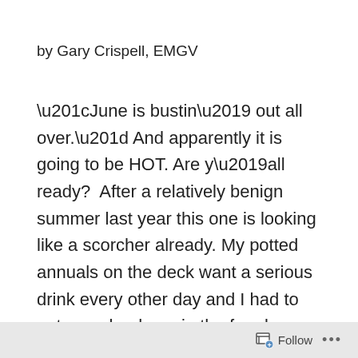by Gary Crispell, EMGV
“June is bustin’ out all over.” And apparently it is going to be HOT. Are y’all ready?  After a relatively benign summer last year this one is looking like a scorcher already. My potted annuals on the deck want a serious drink every other day and I had to put a soaker hose in the four by eight-foot veggie garden box. So, even though it means getting out of the AC there are things to do outside. (Just get up earlier. Beauty sleep is a myth.) Think of going
Follow •••